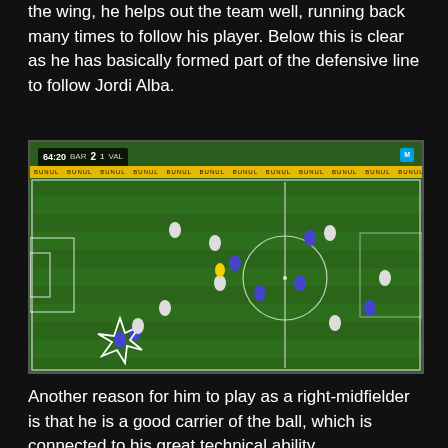the wing, he helps out the team well, running back many times to follow his player. Below this is clear as he has basically formed part of the defensive line to follow Jordi Alba.
[Figure (photo): Football match screenshot showing Barcelona vs Valencia (2-1) at 64:20. Green football pitch with players from both teams visible. A player is circled/highlighted in the lower left area of the pitch near the touchline. Scoreboard shows BAR 2 1 VAL.]
Another reason for him to play as a right-midfielder is that he is a good carrier of the ball, which is connected to his great technical ability. Furthermore, he is also quite quick and